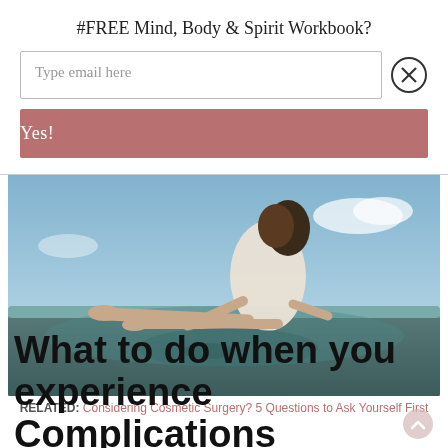#FREE Mind, Body & Spirit Workbook?
Type email here
Yes!
[Figure (photo): Woman in white dress sitting on top of a car roof, legs extended, sky in background. Reflection visible on car surface.]
RELATED: Considering Cosmetic Surgery? 5 Questions to Ask Yourself First
What to do when you experience Complications